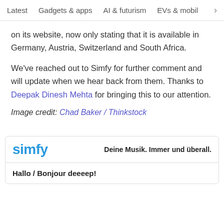Latest   Gadgets & apps   AI & futurism   EVs & mobil  >
on its website, now only stating that it is available in Germany, Austria, Switzerland and South Africa.
We've reached out to Simfy for further comment and will update when we hear back from them. Thanks to Deepak Dinesh Mehta for bringing this to our attention.
Image credit: Chad Baker / Thinkstock
[Figure (screenshot): Simfy advertisement showing logo, tagline 'Deine Musik. Immer und überall.' and message 'Hallo / Bonjour deeeep!']